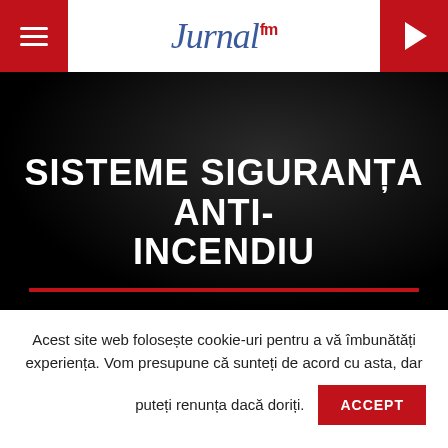Jurnal FM – navigation header with hamburger menu and play button
[Figure (screenshot): Jurnal FM website screenshot showing dark hero section with title SISTEME SIGURANȚA ANTI-INCENDIU and a red horizontal divider line]
SISTEME SIGURANȚA ANTI-INCENDIU
Acest site web folosește cookie-uri pentru a vă îmbunătăți experiența. Vom presupune că sunteți de acord cu asta, dar puteți renunța dacă doriți.
ACCEPT